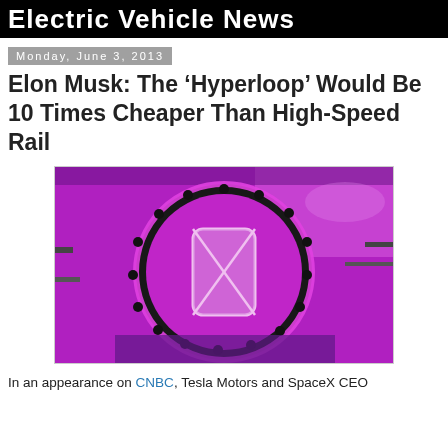Electric Vehicle News
Monday, June 3, 2013
Elon Musk: The ‘Hyperloop’ Would Be 10 Times Cheaper Than High-Speed Rail
[Figure (photo): Conceptual illustration of a Hyperloop tube interior, glowing purple/magenta, showing a circular portal with a rectangular pod visible inside]
In an appearance on CNBC, Tesla Motors and SpaceX CEO